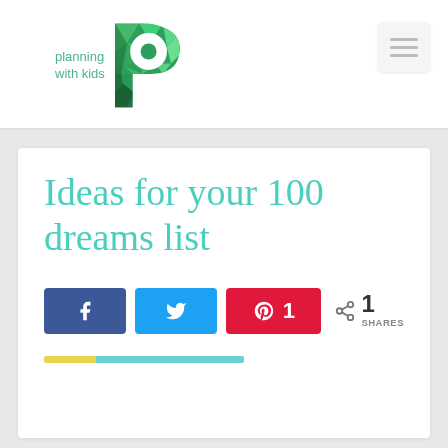[Figure (logo): Planning With Kids logo — teal text 'planning with kids' beside a mosaic green letter P]
[Figure (other): Hamburger menu icon (three horizontal lines) in a light grey rounded square]
Ideas for your 100 dreams list
[Figure (infographic): Social share buttons: Facebook (blue), Twitter (blue bird), Pinterest (red with count 1), and a share icon showing 1 SHARES]
[Figure (other): Rating or progress bar: short yellow segment followed by longer teal segment]